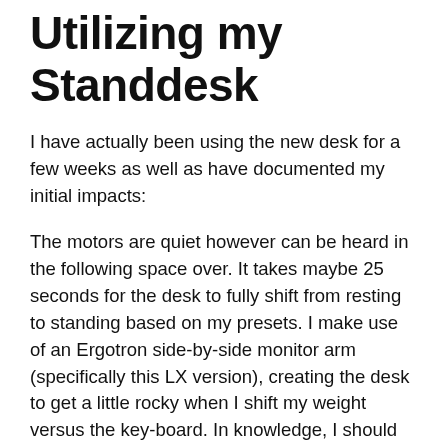Utilizing my Standdesk
I have actually been using the new desk for a few weeks as well as have documented my initial impacts:
The motors are quiet however can be heard in the following space over. It takes maybe 25 seconds for the desk to fully shift from resting to standing based on my presets. I make use of an Ergotron side-by-side monitor arm (specifically this LX version), creating the desk to get a little rocky when I shift my weight versus the key-board. In knowledge, I should have bought the bar